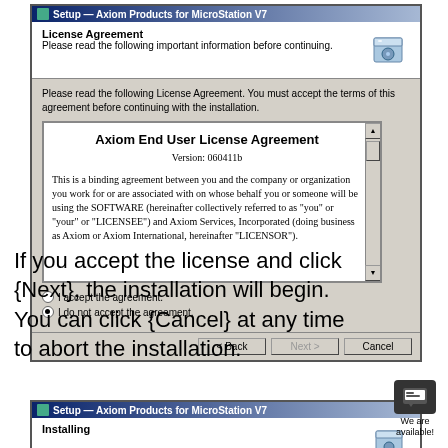[Figure (screenshot): Windows installer dialog showing License Agreement step for Axiom Products for MicroStation V7. Contains the Axiom End User License Agreement text (Version 060411b), radio buttons for accept/decline, and Back/Next/Cancel buttons.]
If you accept the license and click {Next}, the installation will begin. You can click {Cancel} at any time to abort the installation.
[Figure (screenshot): Bottom portion of Windows installer dialog showing Setup - Axiom Products for MicroStation V7 title bar and the beginning of the Installing step.]